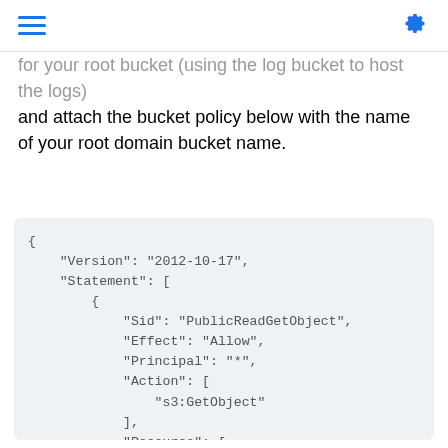☰ ⚙
for your root bucket (using the log bucket to host the logs) and attach the bucket policy below with the name of your root domain bucket name.
{
    "Version": "2012-10-17",
    "Statement": [
        {
            "Sid": "PublicReadGetObject",
            "Effect": "Allow",
            "Principal": "*",
            "Action": [
                "s3:GetObject"
            ],
            "Resource": [
                "arn:aws:s3:::uniqname.static.ins
            ]
        }
    ]